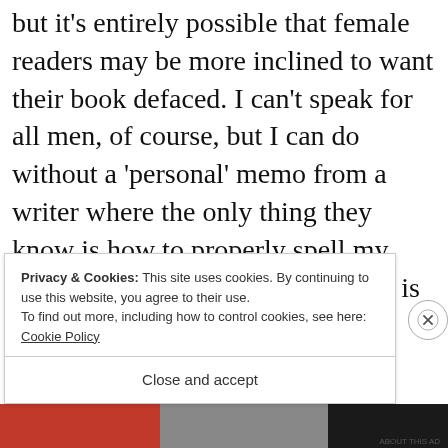but it's entirely possible that female readers may be more inclined to want their book defaced. I can't speak for all men, of course, but I can do without a 'personal' memo from a writer where the only thing they know is how to properly spell my name, and that's because someone is standing there to instruct them.
Privacy & Cookies: This site uses cookies. By continuing to use this website, you agree to their use.
To find out more, including how to control cookies, see here: Cookie Policy
Close and accept